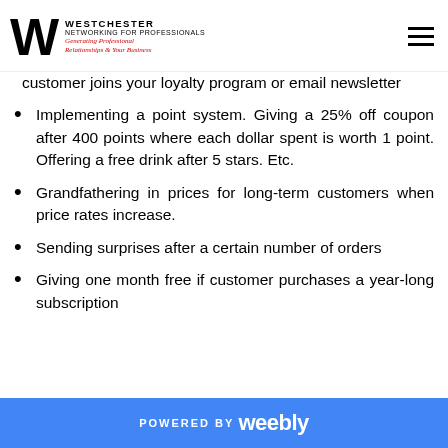Westchester Networking for Professionals — Generating Professional Relationships & Your Business
customer joins your loyalty program or email newsletter
Implementing a point system. Giving a 25% off coupon after 400 points where each dollar spent is worth 1 point. Offering a free drink after 5 stars. Etc.
Grandfathering in prices for long-term customers when price rates increase.
Sending surprises after a certain number of orders
Giving one month free if customer purchases a year-long subscription
POWERED BY weebly